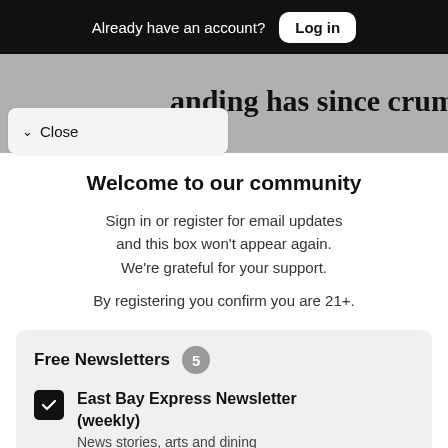Already have an account? Log in
anding has since crumbled
✓ Close
Welcome to our community
Sign in or register for email updates and this box won't appear again. We're grateful for your support.
By registering you confirm you are 21+.
Free Newsletters 5
East Bay Express Newsletter (weekly)
News stories, arts and dining